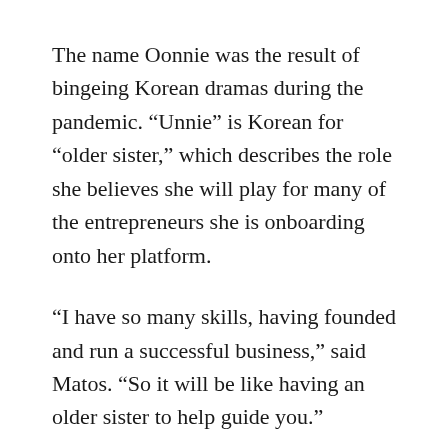The name Oonnie was the result of bingeing Korean dramas during the pandemic. “Unnie” is Korean for “older sister,” which describes the role she believes she will play for many of the entrepreneurs she is onboarding onto her platform.
“I have so many skills, having founded and run a successful business,” said Matos. “So it will be like having an older sister to help guide you.”
Matos has been working with Courtney Hanak, Oonnie’s business manager and owner of William Rae Designs, on building up the number of vendors on the site. So far, they’ve signed on over 20 merchants, including beef and honey producers, as well as